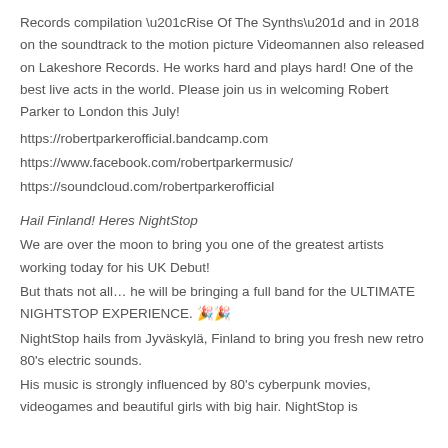Records compilation “Rise Of The Synths” and in 2018 on the soundtrack to the motion picture Videomannen also released on Lakeshore Records. He works hard and plays hard! One of the best live acts in the world. Please join us in welcoming Robert Parker to London this July!
https://robertparkerofficial.bandcamp.com
https://www.facebook.com/robertparkermusic/
https://soundcloud.com/robertparkerofficial
Hail Finland! Heres NightStop
We are over the moon to bring you one of the greatest artists working today for his UK Debut!
But thats not all… he will be bringing a full band for the ULTIMATE NIGHTSTOP EXPERIENCE. 🎉🎉
NightStop hails from Jyväskylä, Finland to bring you fresh new retro 80’s electric sounds.
His music is strongly influenced by 80’s cyberpunk movies, videogames and beautiful girls with big hair. NightStop is